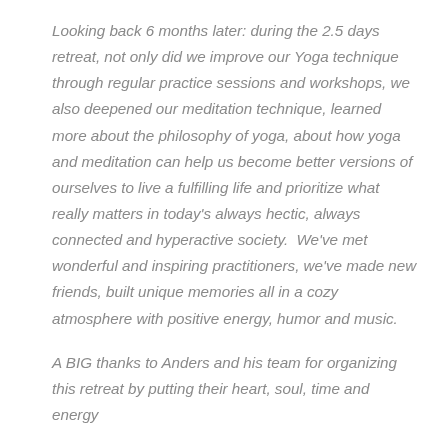Looking back 6 months later: during the 2.5 days retreat, not only did we improve our Yoga technique through regular practice sessions and workshops, we also deepened our meditation technique, learned more about the philosophy of yoga, about how yoga and meditation can help us become better versions of ourselves to live a fulfilling life and prioritize what really matters in today's always hectic, always connected and hyperactive society.  We've met wonderful and inspiring practitioners, we've made new friends, built unique memories all in a cozy atmosphere with positive energy, humor and music.
A BIG thanks to Anders and his team for organizing this retreat by putting their heart, soul, time and energy